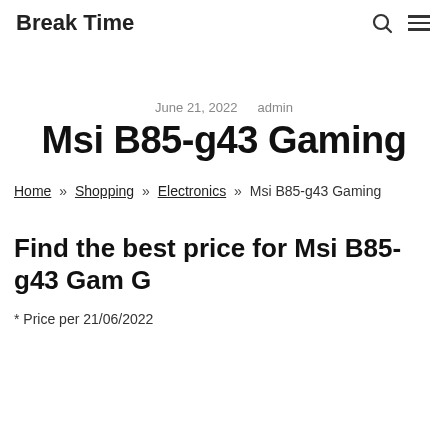Break Time
June 21, 2022  admin
Msi B85-g43 Gaming
Home » Shopping » Electronics » Msi B85-g43 Gaming
Find the best price for Msi B85-g43 Gam G
* Price per 21/06/2022